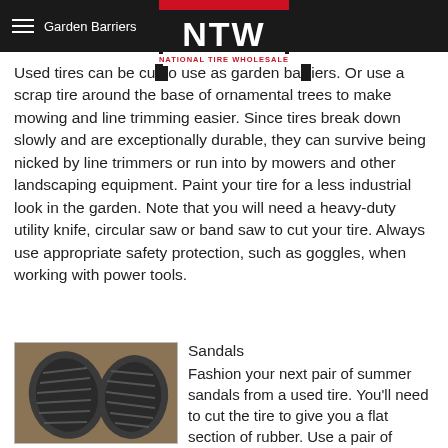Garden Barriers — NTW National Tire Wholesale
Used tires can be cut to use as garden barriers. Or use a scrap tire around the base of ornamental trees to make mowing and line trimming easier. Since tires break down slowly and are exceptionally durable, they can survive being nicked by line trimmers or run into by mowers and other landscaping equipment. Paint your tire for a less industrial look in the garden. Note that you will need a heavy-duty utility knife, circular saw or band saw to cut your tire. Always use appropriate safety protection, such as goggles, when working with power tools.
Sandals
[Figure (photo): Photo of two tire-tread sandal soles made from used tires, showing the rubber tread pattern on a wooden surface]
Fashion your next pair of summer sandals from a used tire. You'll need to cut the tire to give you a flat section of rubber. Use a pair of shoes to